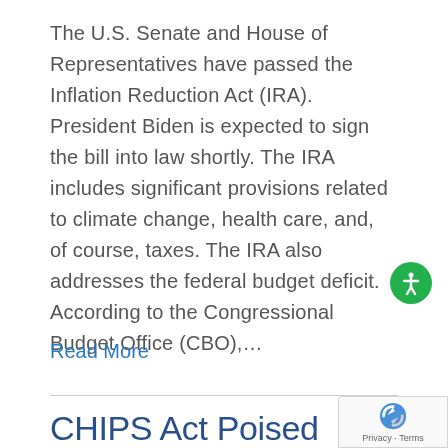The U.S. Senate and House of Representatives have passed the Inflation Reduction Act (IRA). President Biden is expected to sign the bill into law shortly. The IRA includes significant provisions related to climate change, health care, and, of course, taxes. The IRA also addresses the federal budget deficit. According to the Congressional Budget Office (CBO),...
Read More
CHIPS Act Poised to Boost U...